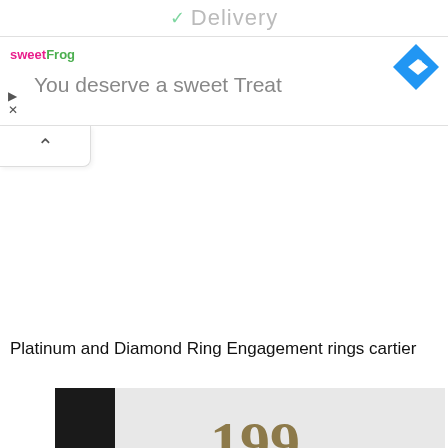Delivery
[Figure (screenshot): Advertisement banner for sweetFrog with text 'You deserve a sweet Treat' and a blue navigation arrow icon]
[Figure (other): UI collapse/minimize button with an upward caret arrow]
Platinum and Diamond Ring Engagement rings cartier
[Figure (photo): Close-up photo of hands holding a diamond engagement ring, person wearing a Gucci shirt with red and green stripe, gold watch on left wrist]